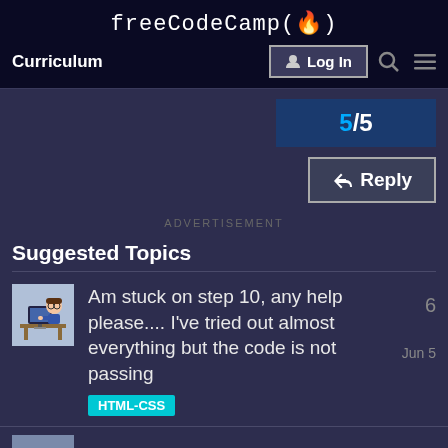freeCodeCamp(🔥)
Curriculum
Log In
5/5
Reply
ADVERTISEMENT
Suggested Topics
Am stuck on step 10, any help please.... I've tried out almost everything but the code is not passing
HTML-CSS
Jun 5